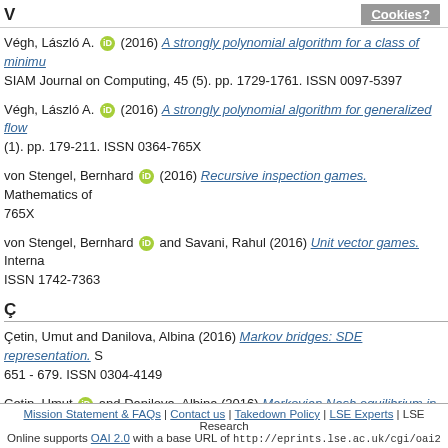V | Cookies?
Végh, László A. (2016) A strongly polynomial algorithm for a class of minimu... SIAM Journal on Computing, 45 (5). pp. 1729-1761. ISSN 0097-5397
Végh, László A. (2016) A strongly polynomial algorithm for generalized flow... (1). pp. 179-211. ISSN 0364-765X
von Stengel, Bernhard (2016) Recursive inspection games. Mathematics of ... 765X
von Stengel, Bernhard and Savani, Rahul (2016) Unit vector games. Interna... ISSN 1742-7363
Ç
Çetin, Umut and Danilova, Albina (2016) Markov bridges: SDE representation. S... 651 - 679. ISSN 0304-4149
Çetin, Umut and Danilova, Albina (2016) Markovian Nash equilibrium in fina... forward-backward systems. Annals of Applied Probability, 26 (4). pp. 1996-2029...
Th
Mission Statement & FAQs | Contact us | Takedown Policy | LSE Experts | LSE Research Online supports OAI 2.0 with a base URL of http://eprints.lse.ac.uk/cgi/oai2